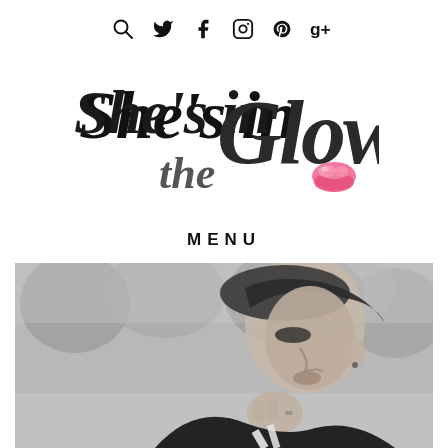Social media icons: search, twitter, facebook, instagram, pinterest, google+
She's in the Glow
MENU
[Figure (photo): Black and white photograph of a young woman looking downward, outdoors with blurred trees in background, wearing black clothing with white strap]